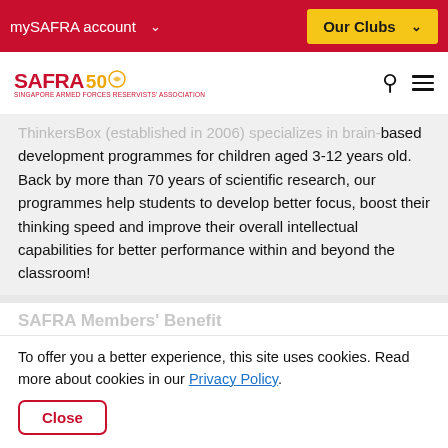mySAFRA account ∨
Our Clubs ∨
[Figure (logo): SAFRA 50th anniversary logo in red and gold]
ThinkersBox (established in 2006) specializes in brain-based development programmes for children aged 3-12 years old. Back by more than 70 years of scientific research, our programmes help students to develop better focus, boost their thinking speed and improve their overall intellectual capabilities for better performance within and beyond the classroom!
SAFRA Members' Benefit
To offer you a better experience, this site uses cookies. Read more about cookies in our Privacy Policy.
Close
• additional $10 off
• e-1 Programme ONLY (5 lessons)
• SAFRA members additional $10 off